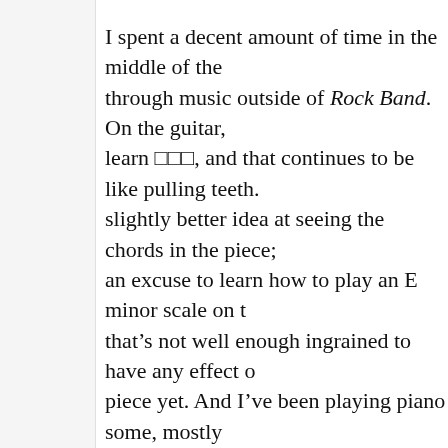I spent a decent amount of time in the middle of the through music outside of Rock Band. On the guitar, learn 囗囗囗, and that continues to be like pulling teeth. slightly better idea at seeing the chords in the piece; an excuse to learn how to play an E minor scale on t that's not well enough ingrained to have any effect o piece yet. And I've been playing piano some, mostly of Pictures at an Exhibition. Which, it turns out, Mi I'm toying with the idea of trying to learn more of th which way that will go yet.

On Saturday, I decided to go through some of the Ye Band. I got side-tracked, though, because when I son songs by artist, the first artist was A-Ha, and I decid Take On Me first. Which turned out to be super fun, frustrating: catchy tune to play on keys, and there's n it that I should miss, so why can't I get five stars on I tried over and over again, but failed; grr, except I h process that I didn't really mind.

After doing that for most of an hour, I decided to sw